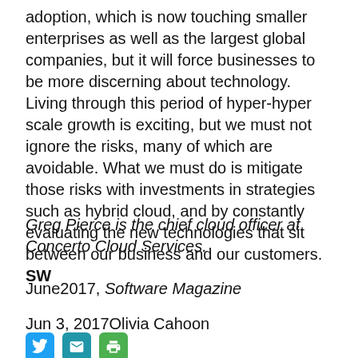adoption, which is now touching smaller enterprises as well as the largest global companies, but it will force businesses to be more discerning about technology. Living through this period of hyper-hyper scale growth is exciting, but we must not ignore the risks, many of which are avoidable. What we must do is mitigate those risks with investments in strategies such as hybrid cloud, and by constantly evaluating the new technologies that sit between our business and our customers. SW
Greg Pierce is the chief cloud officer at Concerto Cloud Services.
June2017, Software Magazine
Jun 3, 2017Olivia Cahoon
[Figure (other): Three social sharing icons: Twitter (blue), Email (teal), Print (green)]